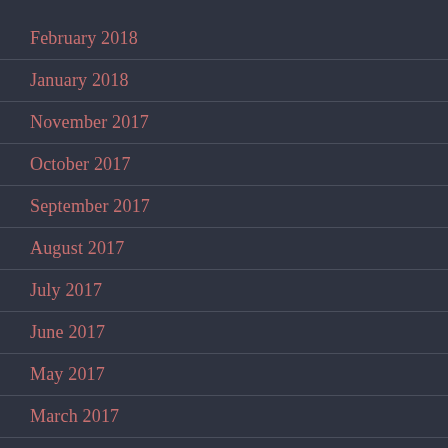February 2018
January 2018
November 2017
October 2017
September 2017
August 2017
July 2017
June 2017
May 2017
March 2017
October 2016